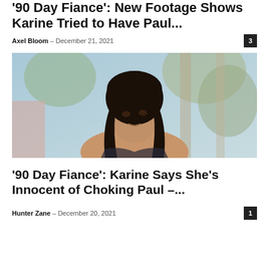'90 Day Fiance': New Footage Shows Karine Tried to Have Paul...
Axel Bloom – December 21, 2021
[Figure (photo): Close-up portrait of a woman with long dark hair outdoors with blurred tree background]
'90 Day Fiance': Karine Says She's Innocent of Choking Paul –...
Hunter Zane – December 20, 2021